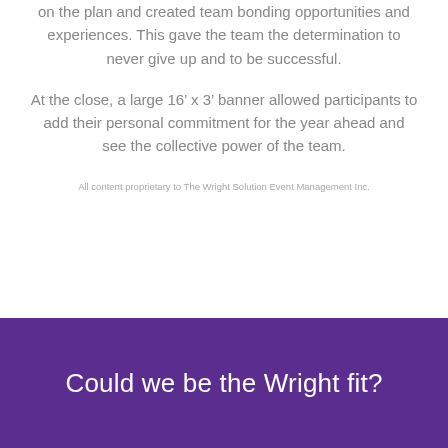on the plan and created team bonding opportunities and experiences. This gave the team the determination to never give up and to be successful.
At the close, a large 16’ x 3’ banner allowed participants to add their personal commitment for the year ahead and see the collective power of the team.
All content proprietary to The Wright Solution Event Management Inc.
Could we be the Wright fit?